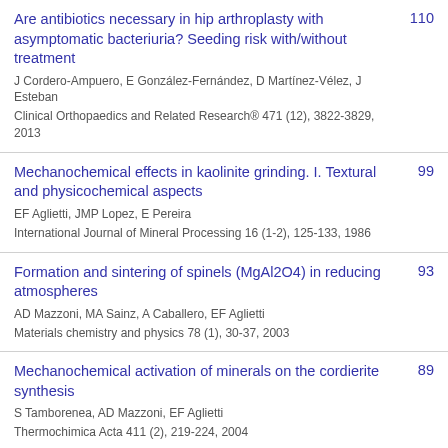Are antibiotics necessary in hip arthroplasty with asymptomatic bacteriuria? Seeding risk with/without treatment
J Cordero-Ampuero, E González-Fernández, D Martínez-Vélez, J Esteban
Clinical Orthopaedics and Related Research® 471 (12), 3822-3829, 2013
110
Mechanochemical effects in kaolinite grinding. I. Textural and physicochemical aspects
EF Aglietti, JMP Lopez, E Pereira
International Journal of Mineral Processing 16 (1-2), 125-133, 1986
99
Formation and sintering of spinels (MgAl2O4) in reducing atmospheres
AD Mazzoni, MA Sainz, A Caballero, EF Aglietti
Materials chemistry and physics 78 (1), 30-37, 2003
93
Mechanochemical activation of minerals on the cordierite synthesis
S Tamborenea, AD Mazzoni, EF Aglietti
Thermochimica Acta 411 (2), 219-224, 2004
89